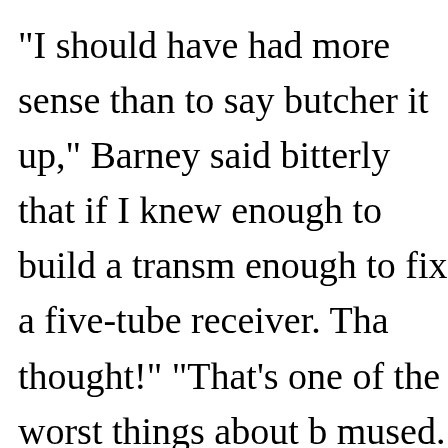"I should have had more sense than to say butcher it up," Barney said bitterly that if I knew enough to build a transm enough to fix a five-tube receiver. Tha thought!"

"That's one of the worst things about b mused. "You simply can't say, 'I don't ahead and prove that you don't know. faint hope for you. If you live long eno